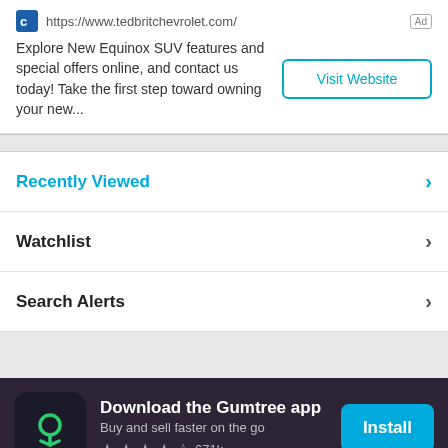https://www.tedbritchevrolet.com/ [Ad]
Explore New Equinox SUV features and special offers online, and contact us today! Take the first step toward owning your new...
Visit Website
Recently Viewed
Watchlist
Search Alerts
Download the Gumtree app
Buy and sell faster on the go
★★★★☆ 671k
Install
Tips & help
Legal